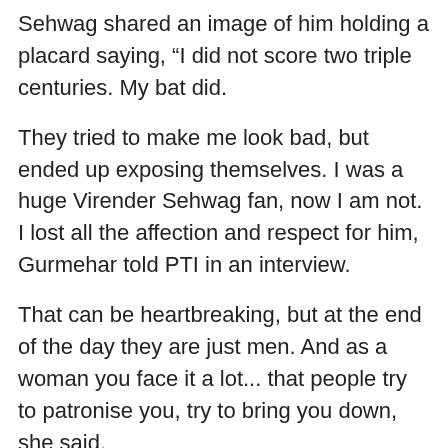Sehwag shared an image of him holding a placard saying, “I did not score two triple centuries. My bat did.
They tried to make me look bad, but ended up exposing themselves. I was a huge Virender Sehwag fan, now I am not. I lost all the affection and respect for him, Gurmehar told PTI in an interview.
That can be heartbreaking, but at the end of the day they are just men. And as a woman you face it a lot... that people try to patronise you, try to bring you down, she said.
Gurmehar said the row proved to be a blessing in disguise as she now has a platform to express her opinions and people who want to voice their views look up to her.